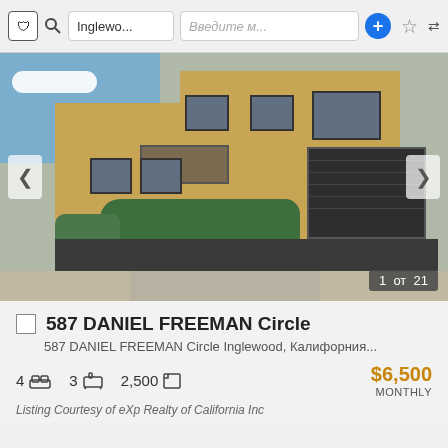Inglewo... Введите м...
[Figure (photo): Exterior photo of a two-story tan/beige stucco townhouse with dark garage door, small front yard landscaping with shrubs and trees, driveway, balcony visible. Photo counter shows 1 от 21.]
587 DANIEL FREEMAN Circle
587 DANIEL FREEMAN Circle Inglewood, Калифорния...
4  3  2,500   $6,500 MONTHLY
Listing Courtesy of eXp Realty of California Inc